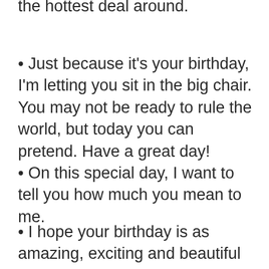the hottest deal around.
Just because it's your birthday, I'm letting you sit in the big chair. You may not be ready to rule the world, but today you can pretend. Have a great day!
On this special day, I want to tell you how much you mean to me.
I hope your birthday is as amazing, exciting and beautiful as you are! Happy Birthday